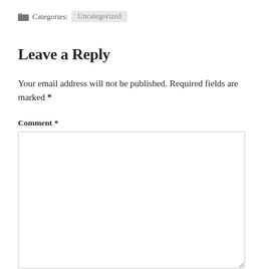Categories: Uncategorized
Leave a Reply
Your email address will not be published. Required fields are marked *
Comment *